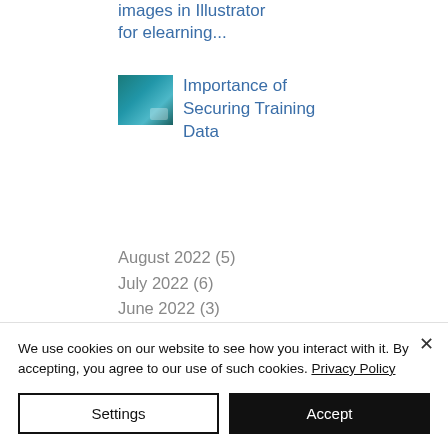images in Illustrator for elearning...
[Figure (photo): Thumbnail image of hands holding credit cards, related to securing training data]
Importance of Securing Training Data
August 2022 (5)
July 2022 (6)
June 2022 (3)
May 2022 (3)
We use cookies on our website to see how you interact with it. By accepting, you agree to our use of such cookies. Privacy Policy
Settings
Accept